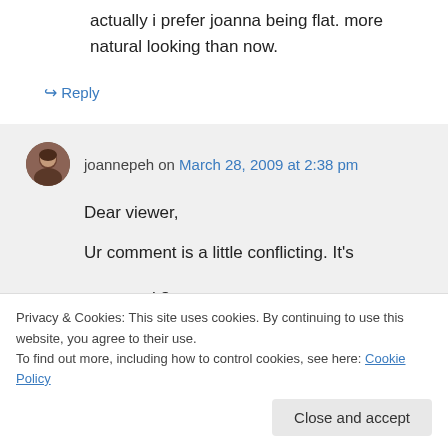actually i prefer joanna being flat. more natural looking than now.
↪ Reply
joannepeh on March 28, 2009 at 2:38 pm
Dear viewer,
Ur comment is a little conflicting. It's
Privacy & Cookies: This site uses cookies. By continuing to use this website, you agree to their use.
To find out more, including how to control cookies, see here: Cookie Policy
Close and accept
comment ok?